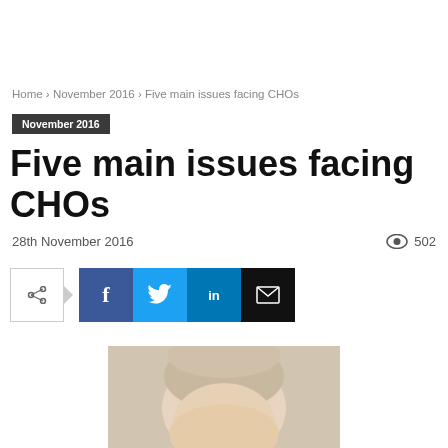Home › November 2016 › Five main issues facing CHOs
November 2016
Five main issues facing CHOs
28th November 2016   502
[Figure (photo): Headshot photo of a bald/grey-haired man, cropped showing top of head and forehead]
[Figure (other): Social share buttons: share icon, Facebook (f), Twitter (bird), LinkedIn (in), Email (envelope)]